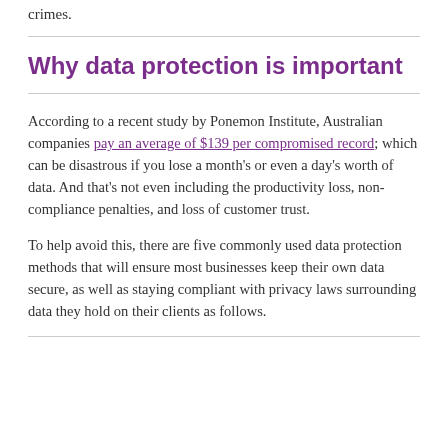crimes.
Why data protection is important
According to a recent study by Ponemon Institute, Australian companies pay an average of $139 per compromised record; which can be disastrous if you lose a month's or even a day's worth of data. And that's not even including the productivity loss, non-compliance penalties, and loss of customer trust.
To help avoid this, there are five commonly used data protection methods that will ensure most businesses keep their own data secure, as well as staying compliant with privacy laws surrounding data they hold on their clients as follows.